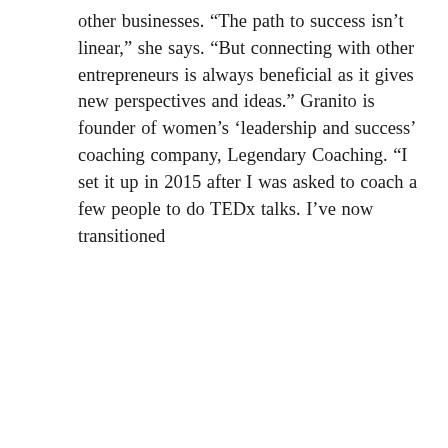other businesses. “The path to success isn’t linear,” she says. “But connecting with other entrepreneurs is always beneficial as it gives new perspectives and ideas.” Granito is founder of women’s ‘leadership and success’ coaching company, Legendary Coaching. “I set it up in 2015 after I was asked to coach a few people to do TEDx talks. I’ve now transitioned